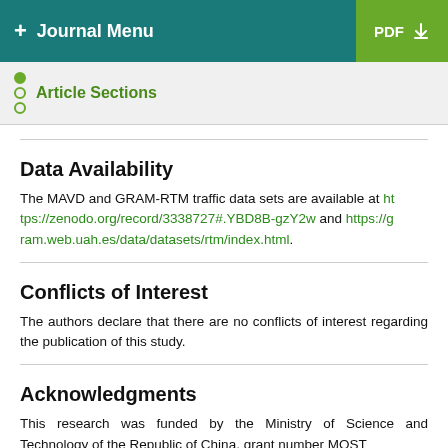+ Journal Menu   PDF ↓
Article Sections
Data Availability
The MAVD and GRAM-RTM traffic data sets are available at https://zenodo.org/record/3338727#.YBD8B-gzY2w and https://gram.web.uah.es/data/datasets/rtm/index.html.
Conflicts of Interest
The authors declare that there are no conflicts of interest regarding the publication of this study.
Acknowledgments
This research was funded by the Ministry of Science and Technology of the Republic of China, grant number MOST